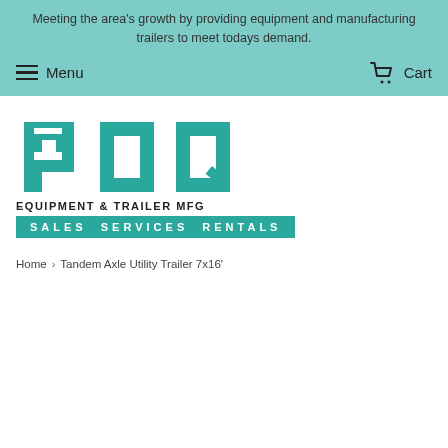Meeting the area's growth by providing equipment and manufacturing trailers to meet todays demand.
Menu   Cart
[Figure (logo): PDQ Equipment & Trailer MFG logo with teal block letters PDQ, subtitle EQUIPMENT & TRAILER MFG, and a teal banner reading SALES SERVICES RENTALS]
Home > Tandem Axle Utility Trailer 7x16'